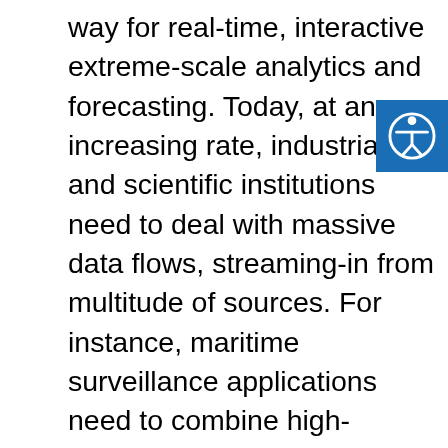way for real-time, interactive extreme-scale analytics and forecasting. Today, at an increasing rate, industrial and scientific institutions need to deal with massive data flows, streaming-in from multitude of sources. For instance, maritime surveillance applications need to combine high-velocity data streams, including vessel position signals transmitted from hundreds of thousands of vessels across the world and acoustic signals of autonomous, unmanned vehicles; in the financial domain, stock price forecasting and portfolio management rely on stock tick data combined with rich, real-time information sources on various pricing indicators; at the forefront of the fight against cancer, complex simulations of multi-cellular systems are used, producing extreme-scale data streams in an effort to predict the